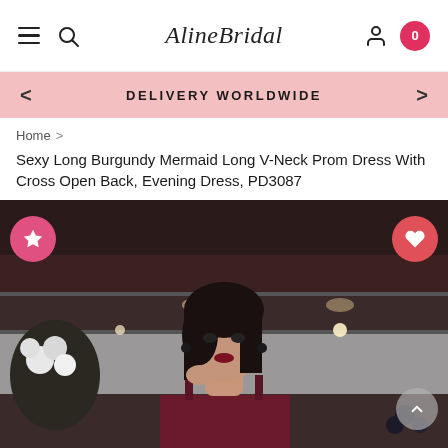AlineBridal — navigation header with hamburger menu, search icon, logo, user icon, and cart badge showing 0
DELIVERY WORLDWIDE
Home > Sexy Long Burgundy Mermaid Long V-Neck Prom Dress With Cross Open Back, Evening Dress, PD3087
Sexy Long Burgundy Mermaid Long V-Neck Prom Dress With Cross Open Back, Evening Dress, PD3087
[Figure (photo): A woman with dark hair wearing a burgundy/dark red dress, posed in front of a dark industrial-style background with shelving and lights. White flowers visible on the left side.]